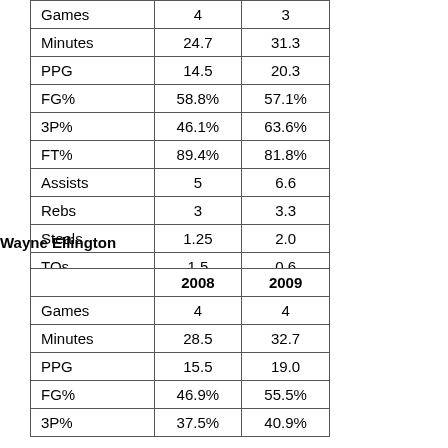|  | 2008 | 2009 |
| --- | --- | --- |
| Games | 4 | 3 |
| Minutes | 24.7 | 31.3 |
| PPG | 14.5 | 20.3 |
| FG% | 58.8% | 57.1% |
| 3P% | 46.1% | 63.6% |
| FT% | 89.4% | 81.8% |
| Assists | 5 | 6.6 |
| Rebs | 3 | 3.3 |
| Steals | 1.25 | 2.0 |
| TOs | 1.5 | 0.6 |
Wayne Ellington
|  | 2008 | 2009 |
| --- | --- | --- |
| Games | 4 | 4 |
| Minutes | 28.5 | 32.7 |
| PPG | 15.5 | 19.0 |
| FG% | 46.9% | 55.5% |
| 3P% | 37.5% | 40.9% |